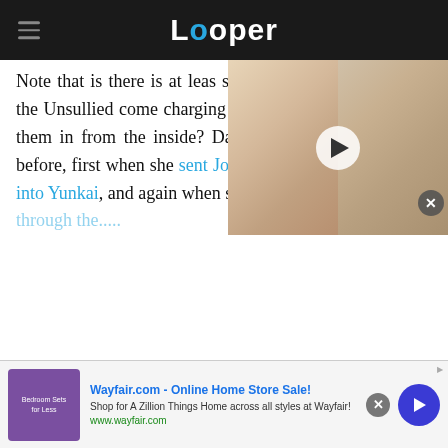Looper
[Figure (photo): Video thumbnail showing two people side by side with a play button overlay]
Note that is there is at least one soldier on the ground before the Unsullied come charging in. Could someone have let them in from the inside? Daenerys has used this tactic before, first when she sent Jorah, Grey Worm and Daario into Yunkai, and again when she sent her Unsullied through the...
[Figure (screenshot): Wayfair.com advertisement banner: Online Home Store Sale! Shop for A Zillion Things Home across all styles at Wayfair! www.wayfair.com]